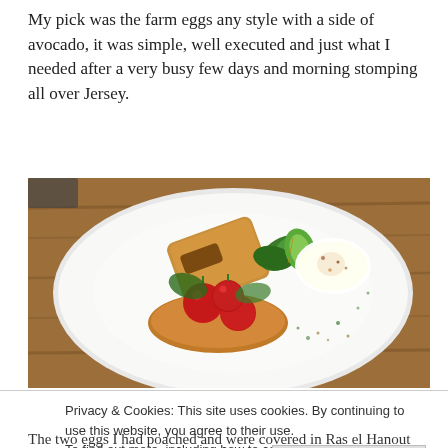My pick was the farm eggs any style with a side of avocado, it was simple, well executed and just what I needed after a very busy few days and morning stomping all over Jersey.
[Figure (photo): A white plate containing poached eggs sprinkled with spices, cherry tomatoes, greens, sliced avocado, and toast on a wooden table.]
Privacy & Cookies: This site uses cookies. By continuing to use this website, you agree to their use.
To find out more, including how to control cookies, see here: Cookie Policy
Close and accept
The two eggs I had poached and were covered in Ras el Hanout